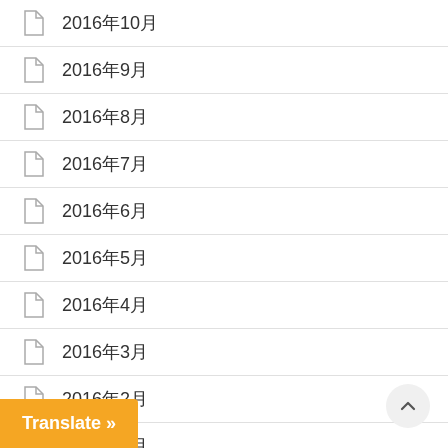2016年10月
2016年9月
2016年8月
2016年7月
2016年6月
2016年5月
2016年4月
2016年3月
2016年2月
2016年1月
2015年12月